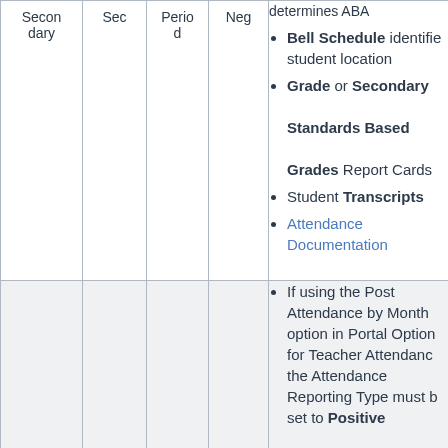| Secondary | Sec | Period | Neg | Content |
| --- | --- | --- | --- | --- |
| Secondary
dary | Sec | Period
d | Neg | • Bell Schedule identifies student location
• Grade or Secondary Standards Based Grades Report Cards
• Student Transcripts
• Attendance Documentation |
|  |  |  |  | • If using the Post Attendance by Month option in Portal Options for Teacher Attendance the Attendance Reporting Type must be set to Positive |